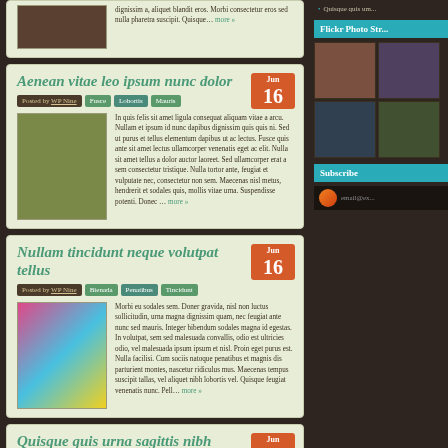dignissim a, aliquet blandit eros. Morbi consectetur eros sed nulla pharetra suscipit. Quisque... more »
Aenean vitae leo ipsum nunc dolor
Posted by WP Nine | Fusce | Lobortis | Mauris
In quis felis sit amet ligula consequat aliquam vitae a arcu. Nullam et ipsum id nunc dapibus dignissim quis quis ni. Sed ut purus et tellus elementum dapibus ut ac lectus. Fusce quis ante sit amet lectus ullamcorper venenatis eget ac elit. Nulla sit amet tellus a dolor auctor laoreet. Sed ullamcorper erat a sem consectetur tristique. Nulla tortor ante, feugiat et vulputate nec, consectetur non sem. Maecenas nisl metus, hendrerit et sodales quis, mollis vitae urna. Suspendisse potenti. Donec ... more »
Nullam tincidunt neque volutpat tellus
Posted by WP Nine | Bienada | Penatibus | Tincidunt
Morbi eu sodales sem. Doner gravida, nisl non luctus sollicitudin, urna magna dignissim quam, nec feugiat ante nunc sed mauris. Integer bibendum sodales magna id egestas. In volutpat, sem sed malesuada convallis, odio est ultricies odio, vel malesuada ipsum ipsum et nisl. Proin eget purus est. Nulla facilisi. Cum sociis natoque penatibus et magnis dis parturient montes, nascetur ridiculus mus. Maecenas tempus suscipit tallas, vel aliquet nibh lobortis vel. Quisque feugiat venenatis nunc. Pell... more »
Quisque quis urna sagittis nibh dapibus
Posted by WP Nine | Glenada | Fermentum | Mauris
Fusce dolor ligula, egestas nec eleifend quis, blandit sed lorem. Duis congue vestibulum nulla vitae viverra. Nullam sit amet velit eu felis mollis rhoncus vitae a dui. Vestibulum dapibus hendrerit arcu, id euismod sem sodales et. Sed vitae sem nisl. Nullam vitae justo felis. Aenean gravida fermentum odio pellentesque...
Flickr Photo Str...
Subscribe